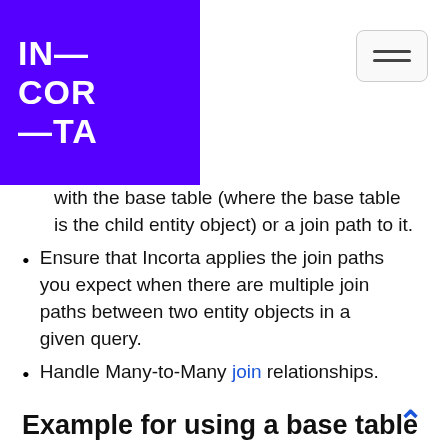IN—
COR
—TA
with the base table (where the base table is the child entity object) or a join path to it.
Ensure that Incorta applies the join paths you expect when there are multiple join paths between two entity objects in a given query.
Handle Many-to-Many join relationships.
Example for using a base table
Consider a physical schema with the following entity objects:
SALES (transactional or facts table)